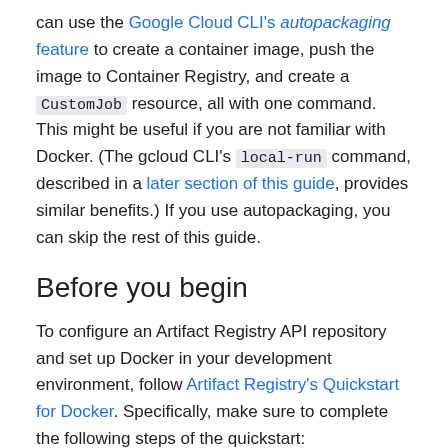can use the Google Cloud CLI's autopackaging feature to create a container image, push the image to Container Registry, and create a CustomJob resource, all with one command. This might be useful if you are not familiar with Docker. (The gcloud CLI's local-run command, described in a later section of this guide, provides similar benefits.) If you use autopackaging, you can skip the rest of this guide.
Before you begin
To configure an Artifact Registry API repository and set up Docker in your development environment, follow Artifact Registry's Quickstart for Docker. Specifically, make sure to complete the following steps of the quickstart:
Before you begin